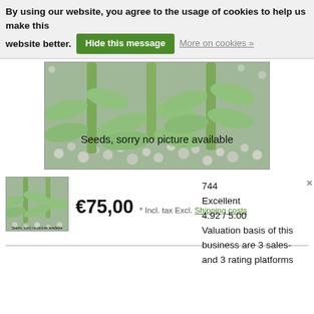By using our website, you agree to the usage of cookies to help us make this website better. Hide this message More on cookies »
[Figure (photo): Close-up photo of green plant stems and oval leaves growing in white gravel/perlite substrate, with text overlay 'Seeds, sorry no picture available']
[Figure (photo): Thumbnail of same plant photo with small caption text at bottom]
€75,00 * Incl. tax Excl. Shipping costs
744
Excellent
4.92 / 5.00
Valuation basis of this business are 3 sales- and 3 rating platforms